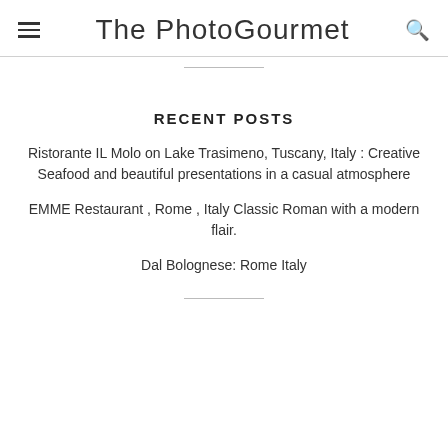The PhotoGourmet
RECENT POSTS
Ristorante IL Molo on Lake Trasimeno, Tuscany, Italy : Creative Seafood and beautiful presentations in a casual atmosphere
EMME Restaurant , Rome , Italy Classic Roman with a modern flair.
Dal Bolognese: Rome Italy